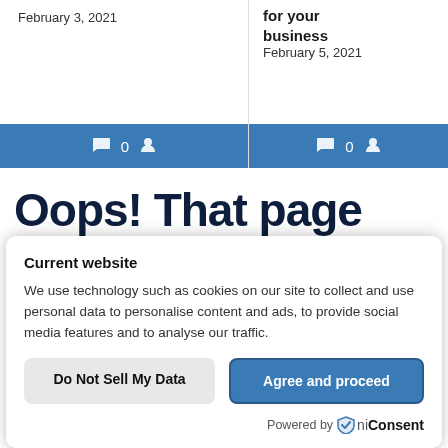February 3, 2021
for your business
February 5, 2021
Oops! That page can't be found.
Current website
We use technology such as cookies on our site to collect and use personal data to personalise content and ads, to provide social media features and to analyse our traffic.
Do Not Sell My Data
Agree and proceed
Powered by OniConsent